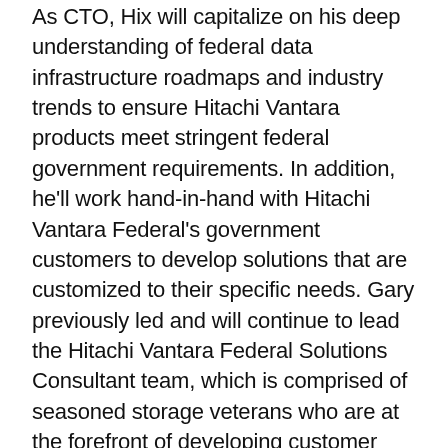As CTO, Hix will capitalize on his deep understanding of federal data infrastructure roadmaps and industry trends to ensure Hitachi Vantara products meet stringent federal government requirements. In addition, he'll work hand-in-hand with Hitachi Vantara Federal's government customers to develop solutions that are customized to their specific needs. Gary previously led and will continue to lead the Hitachi Vantara Federal Solutions Consultant team, which is comprised of seasoned storage veterans who are at the forefront of developing customer solutions that ensure government agencies can meet their mission requirements. By simply listening to customer needs, Solutions Consultants can identify the correct approach to needs and provide the results the agency is looking for.
“As we’ve learned over the last few months, technology demands can turn at any moment, and it’s important to be flexible and creative in solving those challenges. I’m